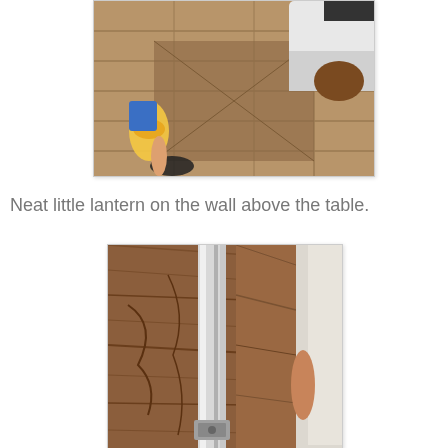[Figure (photo): Aerial view of wooden floor/deck with people's feet visible - one person wearing yellow flip flops and blue pants, another wearing black sandals, and a third person with white clothing holding something brown. Wooden planks visible.]
Neat little lantern on the wall above the table.
[Figure (photo): Close-up photo of a chrome/metal lantern pole against a brown wooden surface (wall or table). The metal pole has a shiny reflective surface and appears to have a base fixture at the bottom.]